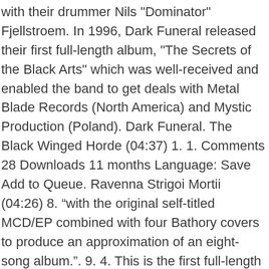with their drummer Nils "Dominator" Fjellstroem. In 1996, Dark Funeral released their first full-length album, "The Secrets of the Black Arts" which was well-received and enabled the band to get deals with Metal Blade Records (North America) and Mystic Production (Poland). Dark Funeral. The Black Winged Horde (04:37) 1. 1. Comments 28 Downloads 11 months Language: Save Add to Queue. Ravenna Strigoi Mortii (04:26) 8. “with the original self-titled MCD/EP combined with four Bathory covers to produce an approximation of an eight-song album.". 9. 4. This is the first full-length album by Dark Funeral. Dark Funeral. 4. Dark Funeral Fanart. Add to Cart. Call From The Grave (BATHORY cover) (4:34) Dark Funeral - My Dark Desires Lyrics : Father I call your name upon the furious winds I'm possessed by the spiritual strength of hell In the chambers